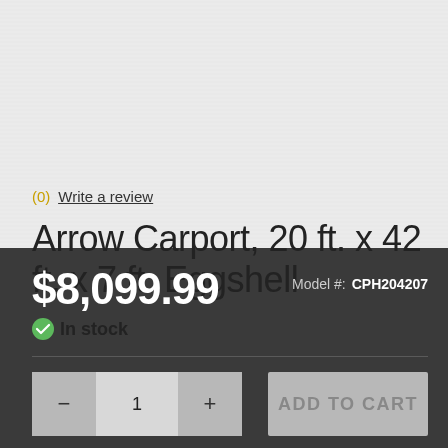(0)  Write a review
Arrow Carport, 20 ft. x 42 ft. x 7 ft. Eggshell
In stock
$8,099.99
Model #: CPH204207
− 1 + ADD TO CART